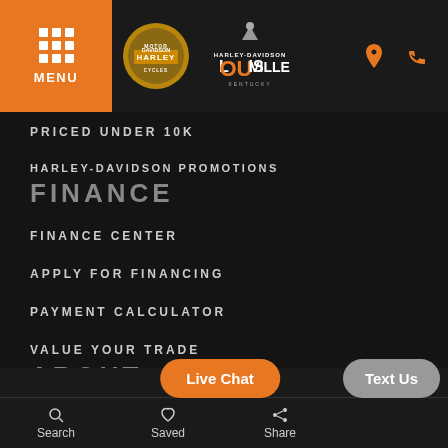MENU | Harley-Davidson Louisville Kentucky
PRICED UNDER 10K
HARLEY-DAVIDSON PROMOTIONS
FINANCE
FINANCE CENTER
APPLY FOR FINANCING
PAYMENT CALCULATOR
VALUE YOUR TRADE
ABOUT
OUR STORY
CONTACT US
MEET OUR STAFF
Search | Saved | Share | Live Chat | Text Us